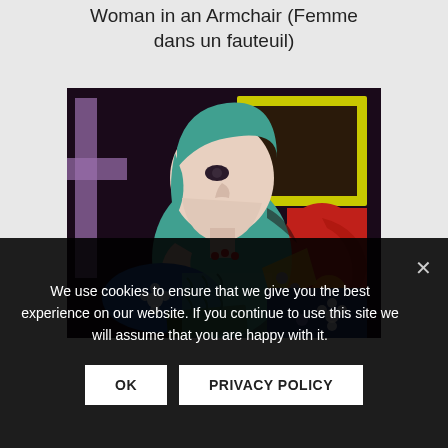Woman in an Armchair (Femme dans un fauteuil)
[Figure (illustration): Picasso's painting 'Woman in an Armchair' (Femme dans un fauteuil) showing a cubist-style seated woman with teal/green hair, reading a book, seated in a red armchair with colorful geometric patterns.]
We use cookies to ensure that we give you the best experience on our website. If you continue to use this site we will assume that you are happy with it.
OK
PRIVACY POLICY